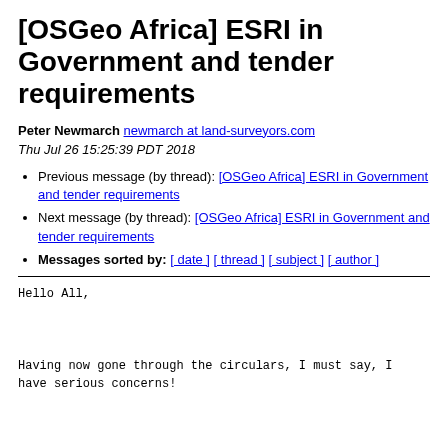[OSGeo Africa] ESRI in Government and tender requirements
Peter Newmarch newmarch at land-surveyors.com
Thu Jul 26 15:25:39 PDT 2018
Previous message (by thread): [OSGeo Africa] ESRI in Government and tender requirements
Next message (by thread): [OSGeo Africa] ESRI in Government and tender requirements
Messages sorted by: [ date ] [ thread ] [ subject ] [ author ]
Hello All,


Having now gone through the circulars, I must say, I have serious concerns!